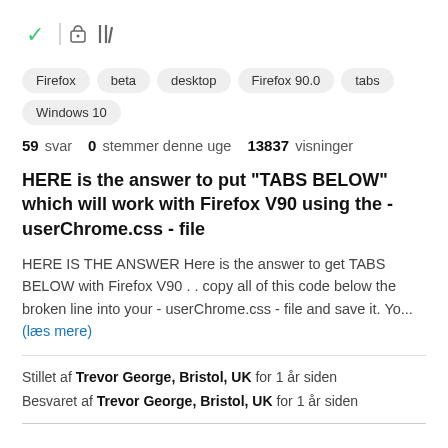[Figure (other): Browser UI icons: green checkmark, vertical divider, lock icon, and library/bookshelf icon]
Firefox
beta
desktop
Firefox 90.0
tabs
Windows 10
59 svar  0 stemmer denne uge  13837 visninger
HERE is the answer to put "TABS BELOW" which will work with Firefox V90 using the - userChrome.css - file
HERE IS THE ANSWER Here is the answer to get TABS BELOW with Firefox V90 . . copy all of this code below the broken line into your - userChrome.css - file and save it. Yo... (læs mere)
Stillet af Trevor George, Bristol, UK for 1 år siden
Besvaret af Trevor George, Bristol, UK for 1 år siden